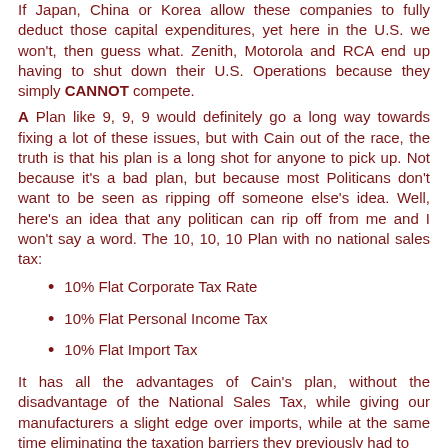If Japan, China or Korea allow these companies to fully deduct those capital expenditures, yet here in the U.S. we won't, then guess what. Zenith, Motorola and RCA end up having to shut down their U.S. Operations because they simply CANNOT compete.
A Plan like 9, 9, 9 would definitely go a long way towards fixing a lot of these issues, but with Cain out of the race, the truth is that his plan is a long shot for anyone to pick up. Not because it's a bad plan, but because most Politicans don't want to be seen as ripping off someone else's idea. Well, here's an idea that any politican can rip off from me and I won't say a word. The 10, 10, 10 Plan with no national sales tax:
10% Flat Corporate Tax Rate
10% Flat Personal Income Tax
10% Flat Import Tax
It has all the advantages of Cain's plan, without the disadvantage of the National Sales Tax, while giving our manufacturers a slight edge over imports, while at the same time eliminating the taxation barriers they previously had to